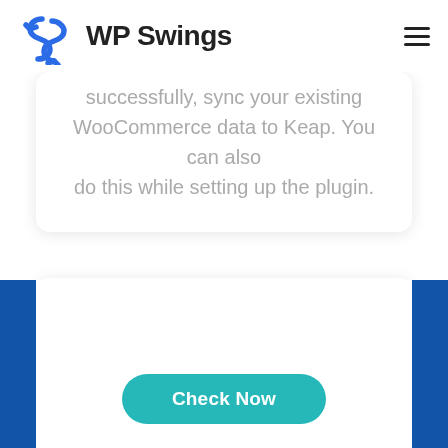[Figure (logo): WP Swings logo with blue stylized S icon and text 'WP Swings']
successfully, sync your existing WooCommerce data to Keap. You can also do this while setting up the plugin.
Step 4
Check Now